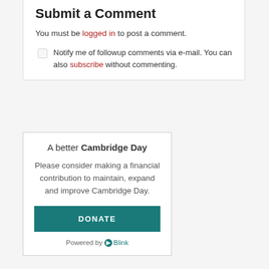Submit a Comment
You must be logged in to post a comment.
Notify me of followup comments via e-mail. You can also subscribe without commenting.
A better Cambridge Day
Please consider making a financial contribution to maintain, expand and improve Cambridge Day.
DONATE
Powered by Blink